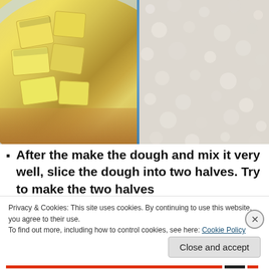[Figure (photo): Close-up photo split in two: left side shows cubed yellow butter on a blue-grey plate with wooden surface background; right side shows a close-up of white flour texture. A blue glass divider separates the two halves.]
After the make the dough and mix it very well, slice the dough into two halves. Try to make the two halves
Privacy & Cookies: This site uses cookies. By continuing to use this website, you agree to their use.
To find out more, including how to control cookies, see here: Cookie Policy
Close and accept